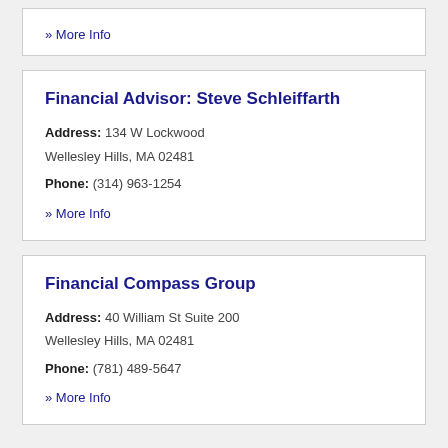» More Info
Financial Advisor: Steve Schleiffarth
Address: 134 W Lockwood
Wellesley Hills, MA 02481
Phone: (314) 963-1254
» More Info
Financial Compass Group
Address: 40 William St Suite 200
Wellesley Hills, MA 02481
Phone: (781) 489-5647
» More Info